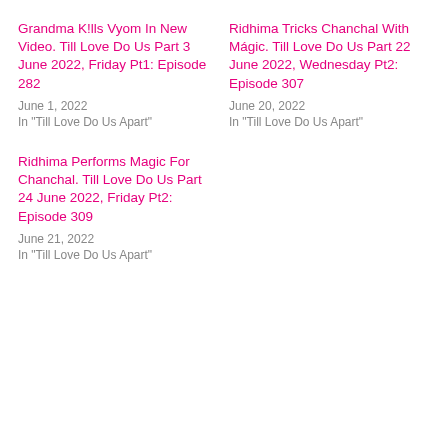Grandma K!lls Vyom In New Video. Till Love Do Us Part 3 June 2022, Friday Pt1: Episode 282
June 1, 2022
In "Till Love Do Us Apart"
Ridhima Tricks Chanchal With Mágic. Till Love Do Us Part 22 June 2022, Wednesday Pt2: Episode 307
June 20, 2022
In "Till Love Do Us Apart"
Ridhima Performs Magic For Chanchal. Till Love Do Us Part 24 June 2022, Friday Pt2: Episode 309
June 21, 2022
In "Till Love Do Us Apart"